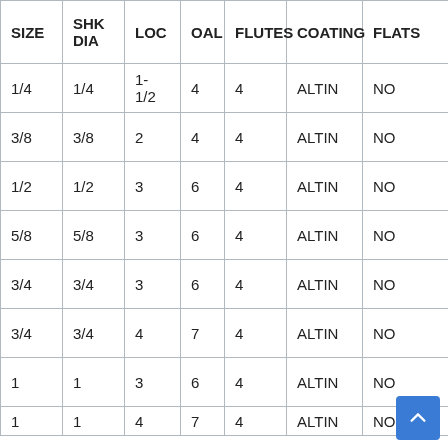| SIZE | SHK DIA | LOC | OAL | FLUTES | COATING | FLATS |
| --- | --- | --- | --- | --- | --- | --- |
| 1/4 | 1/4 | 1-1/2 | 4 | 4 | ALTIN | NO |
| 3/8 | 3/8 | 2 | 4 | 4 | ALTIN | NO |
| 1/2 | 1/2 | 3 | 6 | 4 | ALTIN | NO |
| 5/8 | 5/8 | 3 | 6 | 4 | ALTIN | NO |
| 3/4 | 3/4 | 3 | 6 | 4 | ALTIN | NO |
| 3/4 | 3/4 | 4 | 7 | 4 | ALTIN | NO |
| 1 | 1 | 3 | 6 | 4 | ALTIN | NO |
| 1 | 1 | 4 | 7 | 4 | ALTIN | NO |